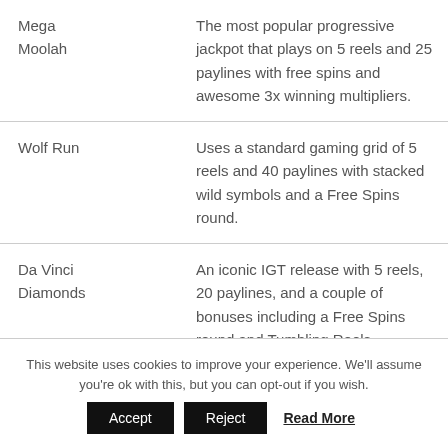|  |  |
| --- | --- |
| Mega Moolah | The most popular progressive jackpot that plays on 5 reels and 25 paylines with free spins and awesome 3x winning multipliers. |
| Wolf Run | Uses a standard gaming grid of 5 reels and 40 paylines with stacked wild symbols and a Free Spins round. |
| Da Vinci Diamonds | An iconic IGT release with 5 reels, 20 paylines, and a couple of bonuses including a Free Spins round and Tumbling Reels. |
This website uses cookies to improve your experience. We'll assume you're ok with this, but you can opt-out if you wish.